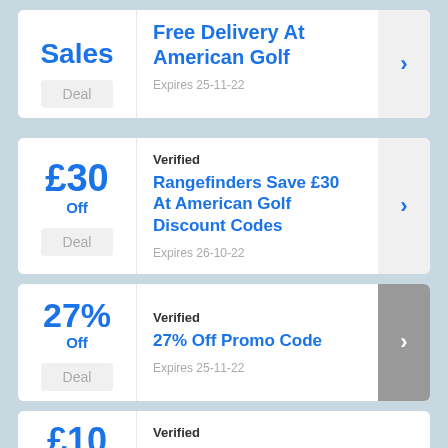Sales | Free Delivery At American Golf | Deal | Expires 25-11-22
Verified
Rangefinders Save £30 At American Golf Discount Codes
Deal
Expires 26-10-22
Verified
27% Off Promo Code
Deal
Expires 25-11-22
Verified